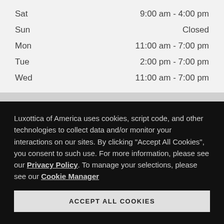| Day | Hours |
| --- | --- |
| Sat | 9:00 am - 4:00 pm |
| Sun | Closed |
| Mon | 11:00 am - 7:00 pm |
| Tue | 2:00 pm - 7:00 pm |
| Wed | 11:00 am - 7:00 pm |
Luxottica of America uses cookies, script code, and other technologies to collect data and/or monitor your interactions on our sites. By clicking "Accept All Cookies", you consent to such use. For more information, please see our Privacy Policy. To manage your selections, please see our Cookie Manager
ACCEPT ALL COOKIES